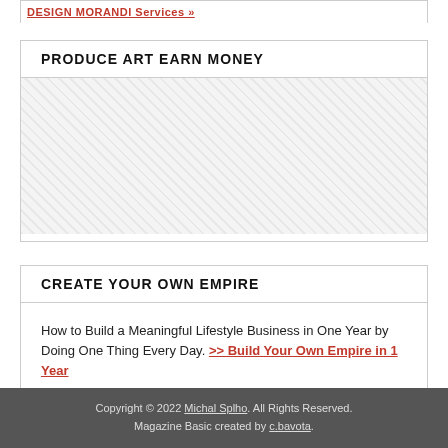DESIGN MORANDI Services »
PRODUCE ART EARN MONEY
[Figure (other): Empty hatched/crosshatch placeholder area for Produce Art Earn Money section]
CREATE YOUR OWN EMPIRE
How to Build a Meaningful Lifestyle Business in One Year by Doing One Thing Every Day. >> Build Your Own Empire in 1 Year
Copyright © 2022 Michal Splho. All Rights Reserved. Magazine Basic created by c.bavota.